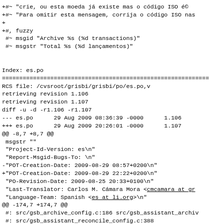+#~ "crie, ou esta moeda já existe mas o código ISO é©
+#~ "Para omitir esta mensagem, corrija o código ISO nas
+
+#, fuzzy
 #~ msgid "Archive %s (%d transactions)"
 #~ msgstr "Total %s (%d lançamentos)"


Index: es.po
============================================================
RCS file: /cvsroot/grisbi/grisbi/po/es.po,v
retrieving revision 1.106
retrieving revision 1.107
diff -u -d -r1.106 -r1.107
--- es.po      29 Aug 2009 08:36:39 -0000      1.106
+++ es.po      29 Aug 2009 20:26:01 -0000      1.107
@@ -8,7 +8,7 @@
 msgstr ""
 "Project-Id-Version: es\n"
 "Report-Msgid-Bugs-To: \n"
-"POT-Creation-Date: 2009-08-29 08:57+0200\n"
+"POT-Creation-Date: 2009-08-29 22:22+0200\n"
 "PO-Revision-Date: 2009-08-25 20:33+0100\n"
 "Last-Translator: Carlos M. Cámara Mora <cmcamara at gr
 "Language-Team: Spanish <es at li.org>\n"
@@ -174,7 +174,7 @@
 #: src/gsb_archive_config.c:186 src/gsb_assistant_archiv
 #: src/gsb_assistant_reconcile_config.c:388
[...2737 lines suppressed...]